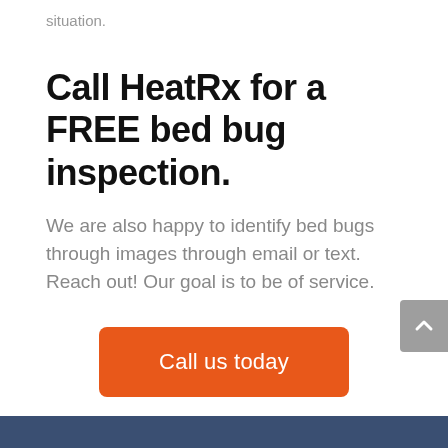situation.
Call HeatRx for a FREE bed bug inspection.
We are also happy to identify bed bugs through images through email or text. Reach out! Our goal is to be of service.
Call us today